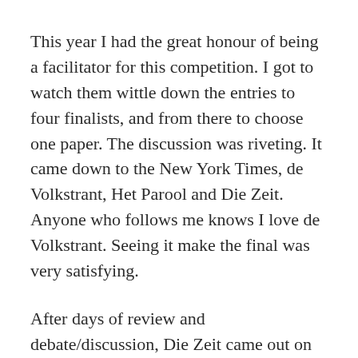This year I had the great honour of being a facilitator for this competition. I got to watch them wittle down the entries to four finalists, and from there to choose one paper. The discussion was riveting. It came down to the New York Times, de Volkstrant, Het Parool and Die Zeit. Anyone who follows me knows I love de Volkstrant. Seeing it make the final was very satisfying.
After days of review and debate/discussion, Die Zeit came out on top. While all these newspapers have huge strengths, Die Zeit is worthy of this lofty title.